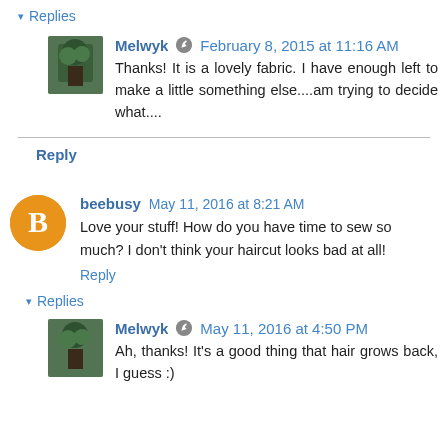▾ Replies
Melwyk  February 8, 2015 at 11:16 AM
Thanks! It is a lovely fabric. I have enough left to make a little something else....am trying to decide what....
Reply
beebusy  May 11, 2016 at 8:21 AM
Love your stuff! How do you have time to sew so much? I don't think your haircut looks bad at all!
Reply
▾ Replies
Melwyk  May 11, 2016 at 4:50 PM
Ah, thanks! It's a good thing that hair grows back, I guess :)